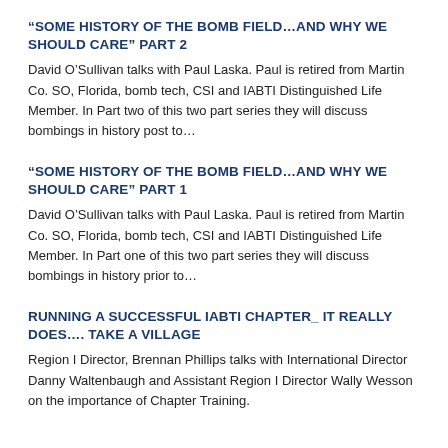“SOME HISTORY OF THE BOMB FIELD…AND WHY WE SHOULD CARE” PART 2
David O’Sullivan talks with Paul Laska. Paul is retired from Martin Co. SO, Florida, bomb tech, CSI and IABTI Distinguished Life Member. In Part two of this two part series they will discuss bombings in history post to…
“SOME HISTORY OF THE BOMB FIELD…AND WHY WE SHOULD CARE” PART 1
David O’Sullivan talks with Paul Laska. Paul is retired from Martin Co. SO, Florida, bomb tech, CSI and IABTI Distinguished Life Member. In Part one of this two part series they will discuss bombings in history prior to…
RUNNING A SUCCESSFUL IABTI CHAPTER_ IT REALLY DOES…. TAKE A VILLAGE
Region I Director, Brennan Phillips talks with International Director Danny Waltenbaugh and Assistant Region I Director Wally Wesson on the importance of Chapter Training.